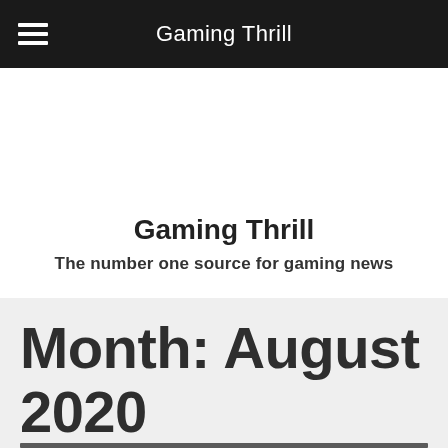Gaming Thrill
Gaming Thrill
The number one source for gaming news
Month: August 2020